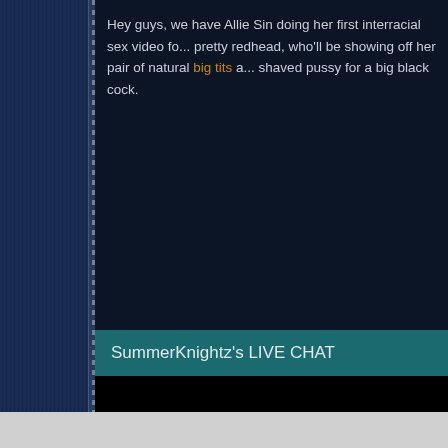[Figure (screenshot): Denim-textured left sidebar with stitched seam, dark navy textured main content background]
Hey guys, we have Allie Sin doing her first interracial sex video fo... pretty redhead, who'll be showing off her pair of natural big tits a... shaved pussy for a big black cock.
SummerKnightz's LIVE CHAT
[Figure (screenshot): Black video/chat area below the live chat header bar]